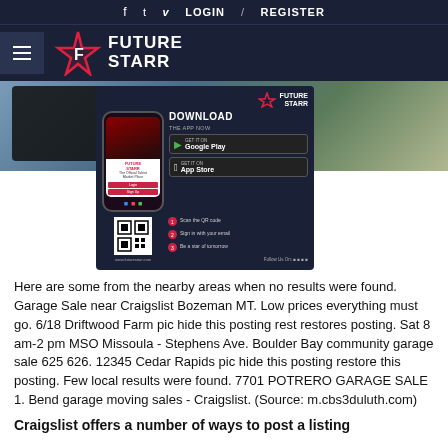f  t  v  LOGIN  /  REGISTER
[Figure (logo): Future Starr logo with hamburger menu, star graphic and FUTURE STARR text on dark navy background]
[Figure (screenshot): Article background image with Future Starr app download popup overlay showing phone mockup, DOWNLOAD THE APP NOW, Google Play and App Store buttons, QR code, and steps to scan]
Here are some from the nearby areas when no results were found. Garage Sale near Craigslist Bozeman MT. Low prices everything must go. 6/18 Driftwood Farm pic hide this posting rest restores posting. Sat 8 am-2 pm MSO Missoula - Stephens Ave. Boulder Bay community garage sale 625 626. 12345 Cedar Rapids pic hide this posting restore this posting. Few local results were found. 7701 POTRERO GARAGE SALE 1. Bend garage moving sales - Craigslist. (Source: m.cbs3duluth.com)
Craigslist offers a number of ways to post a listing